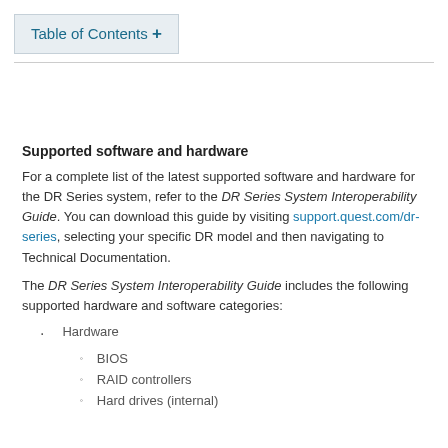Table of Contents +
Supported software and hardware
For a complete list of the latest supported software and hardware for the DR Series system, refer to the DR Series System Interoperability Guide. You can download this guide by visiting support.quest.com/dr-series, selecting your specific DR model and then navigating to Technical Documentation.
The DR Series System Interoperability Guide includes the following supported hardware and software categories:
Hardware
BIOS
RAID controllers
Hard drives (internal)